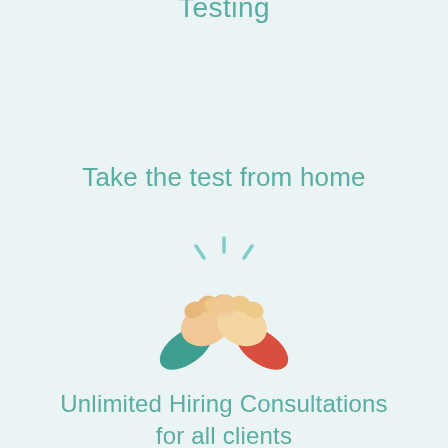Testing
Take the test from home
[Figure (illustration): Two hands performing a fist bump or handshake gesture with teal and red sleeves, with sparkle/shine lines above, on a light teal background.]
Unlimited Hiring Consultations for all clients